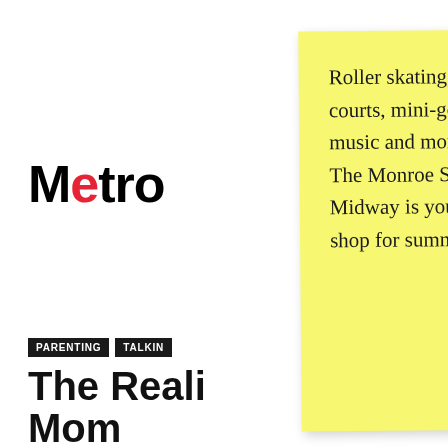Metro
PARENTING   TALKING
The Reali Mom
A black mom from De... the way she parents her two young kids — and calls for change from those who read her story.
By Mori K. Anderson | June 17, 2020
[Figure (infographic): Social share buttons: share icon, forward arrow, Facebook, Twitter, Pinterest, Email, Print]
Want to be the first to know about local parenting stories and trends? Get the latest info in our Pulse newsletter!
[Figure (infographic): Yellow sticky note overlay with handwritten text: Roller skating, sports courts, mini-golf, live music and more! The Monroe Street Midway is your one-stop shop for summer fun! With an X close button in top-right.]